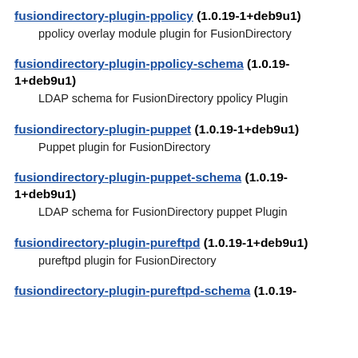fusiondirectory-plugin-ppolicy (1.0.19-1+deb9u1)
    ppolicy overlay module plugin for FusionDirectory
fusiondirectory-plugin-ppolicy-schema (1.0.19-1+deb9u1)
    LDAP schema for FusionDirectory ppolicy Plugin
fusiondirectory-plugin-puppet (1.0.19-1+deb9u1)
    Puppet plugin for FusionDirectory
fusiondirectory-plugin-puppet-schema (1.0.19-1+deb9u1)
    LDAP schema for FusionDirectory puppet Plugin
fusiondirectory-plugin-pureftpd (1.0.19-1+deb9u1)
    pureftpd plugin for FusionDirectory
fusiondirectory-plugin-pureftpd-schema (1.0.19-